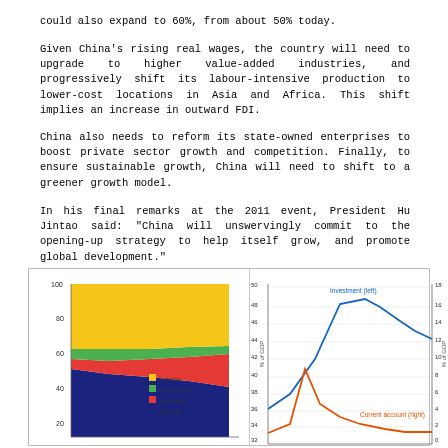could also expand to 60%, from about 50% today.
Given China's rising real wages, the country will need to upgrade to higher value-added industries, and progressively shift its labour-intensive production to lower-cost locations in Asia and Africa. This shift implies an increase in outward FDI.
China also needs to reform its state-owned enterprises to boost private sector growth and competition. Finally, to ensure sustainable growth, China will need to shift to a greener growth model.
In his final remarks at the 2011 event, President Hu Jintao said: “China will unswervingly commit to the opening-up strategy to help itself grow, and promote global development.”
[Figure (stacked-bar-chart): Stacked area/bar chart showing industry, construction, agriculture, and services as % of GDP over time. Y-axis 20-100.]
[Figure (line-chart): Line chart with dual y-axes showing Investment (left axis 32-50, % of GDP) and Current account (right axis 0-18, % of GDP) over time.]